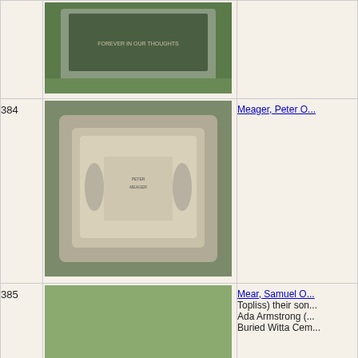| # | Photo | Name/Info |
| --- | --- | --- |
| 384 | [gravestone photo] | Meager, Peter O... |
| 385 | [cemetery gravestone photo] | Mear, Samuel O... Topliss) their son... Ada Armstrong (... Buried Witta Cem... |
| 386 | [gravestone photo] | Milady, Thomas ... |